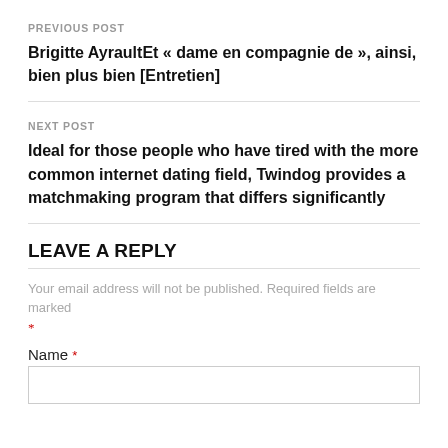PREVIOUS POST
Brigitte AyraultEt « dame en compagnie de », ainsi, bien plus bien [Entretien]
NEXT POST
Ideal for those people who have tired with the more common internet dating field, Twindog provides a matchmaking program that differs significantly
LEAVE A REPLY
Your email address will not be published. Required fields are marked *
Name *